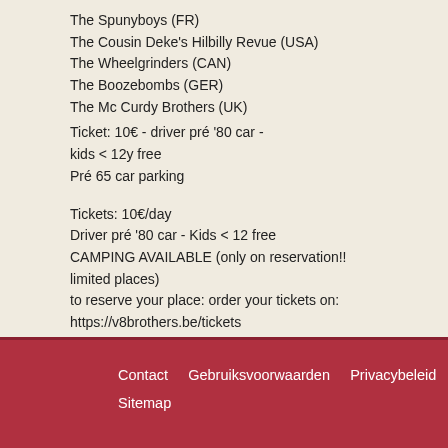The Spunyboys (FR)
The Cousin Deke's Hilbilly Revue (USA)
The Wheelgrinders (CAN)
The Boozebombs (GER)
The Mc Curdy Brothers (UK)
Ticket: 10€ - driver pré '80 car - kids < 12y free
Pré 65 car parking
Tickets: 10€/day
Driver pré '80 car - Kids < 12 free
CAMPING AVAILABLE (only on reservation!! limited places)
to reserve your place: order your tickets on:
https://v8brothers.be/tickets
❮ Terug naar overzicht
Contact   Gebruiksvoorwaarden   Privacybeleid   Sitemap